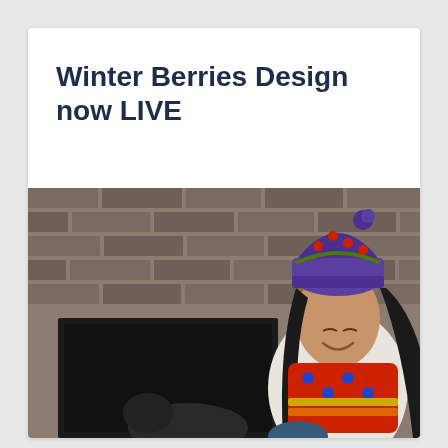Winter Berries Design now LIVE
[Figure (photo): A smiling woman wearing a purple knit hat with colorful berry/floral pattern and a bright red and multicolored knit cowl scarf, standing in front of a brick fireplace, looking down at a dog]